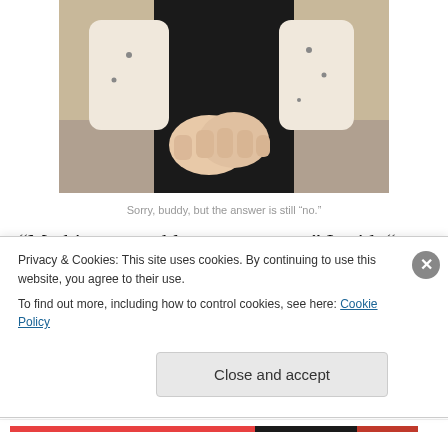[Figure (photo): A child standing with arms crossed or hands clasped, wearing a white patterned long-sleeve shirt and dark pants, photographed from the torso down.]
Sorry, buddy, but the answer is still “no.”
“My biggest problem as a parent,” I said, “was that I couldn’t watch you suffer.” I had complimented Elena a moment earlier on her heart of flint when Cole pitches fits
Privacy & Cookies: This site uses cookies. By continuing to use this website, you agree to their use.
To find out more, including how to control cookies, see here: Cookie Policy
Close and accept